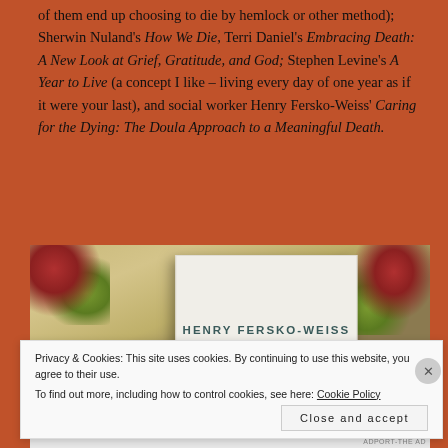of them end up choosing to die by hemlock or other method); Sherwin Nuland's How We Die, Terri Daniel's Embracing Death: A New Look at Grief, Gratitude, and God; Stephen Levine's A Year to Live (a concept I like – living every day of one year as if it were your last), and social worker Henry Fersko-Weiss' Caring for the Dying: The Doula Approach to a Meaningful Death.
[Figure (photo): Photo of a book by Henry Fersko-Weiss, showing the spine with the author's name in capital letters against a light background, placed on a floral patterned fabric.]
Privacy & Cookies: This site uses cookies. By continuing to use this website, you agree to their use. To find out more, including how to control cookies, see here: Cookie Policy
Close and accept